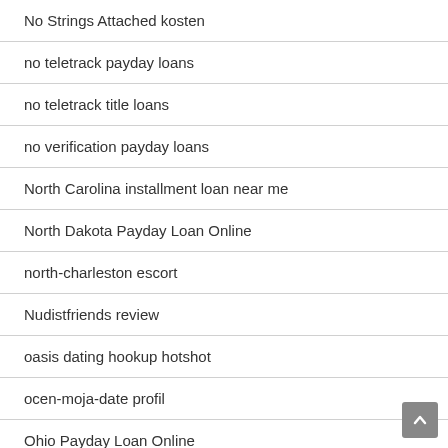No Strings Attached kosten
no teletrack payday loans
no teletrack title loans
no verification payday loans
North Carolina installment loan near me
North Dakota Payday Loan Online
north-charleston escort
Nudistfriends review
oasis dating hookup hotshot
ocen-moja-date profil
Ohio Payday Loan Online
okcupid review
Older Women Dating visitors